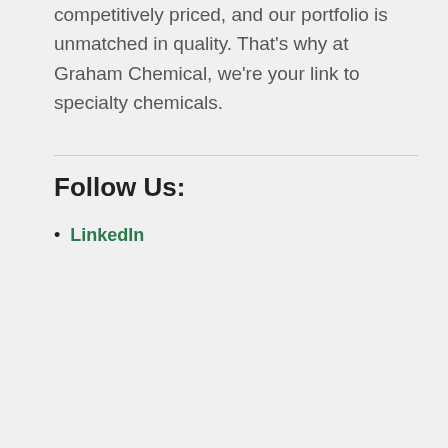competitively priced, and our portfolio is unmatched in quality. That's why at Graham Chemical, we're your link to specialty chemicals.
Follow Us:
LinkedIn